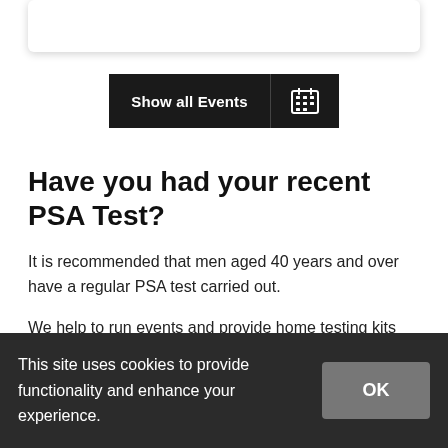[Figure (other): White card with shadow at top of page]
Show all Events [calendar icon button]
Have you had your recent PSA Test?
It is recommended that men aged 40 years and over have a regular PSA test carried out.
We help to run events and provide home testing kits that enable men to have a simple blood test that may indicate whether or not they have a possible problem with their prostate and should take further action via their GP.
This site uses cookies to provide functionality and enhance your experience.